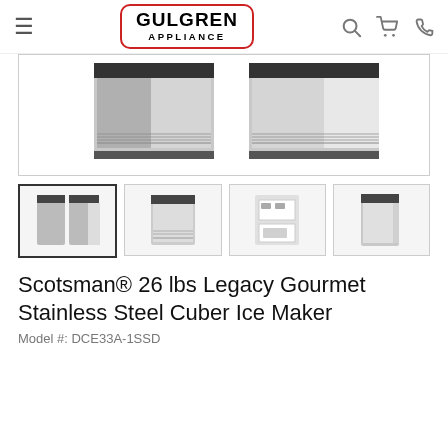Gulgren Appliance navigation bar with logo, search, cart, and phone icons
[Figure (photo): Main product image showing two Scotsman stainless steel ice maker units side by side, one with door open]
[Figure (photo): Thumbnail 1: Both ice maker units side by side (selected)]
[Figure (photo): Thumbnail 2: Front view of single ice maker unit]
[Figure (photo): Thumbnail 3: Interior of ice maker with controls visible]
[Figure (photo): Thumbnail 4: Side/door view of ice maker]
Scotsman® 26 lbs Legacy Gourmet Stainless Steel Cuber Ice Maker
Model #: DCE33A-1SSD